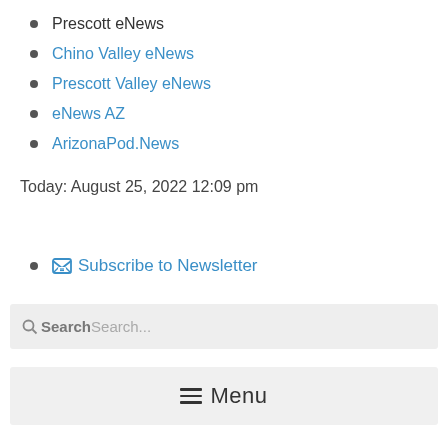Prescott eNews
Chino Valley eNews
Prescott Valley eNews
eNews AZ
ArizonaPod.News
Today: August 25, 2022 12:09 pm
Subscribe to Newsletter
SearchSearch...
Menu